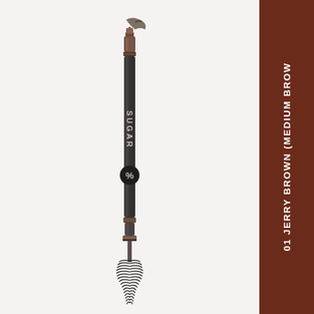[Figure (photo): SUGAR cosmetics eyebrow pencil with spoolie brush end, dark graphite/charcoal colored slim pencil with SUGAR branding and logo, shown vertically with brush end at bottom and pencil tip at top. A small swatch mark appears near the top of the pencil.]
01 JERRY BROWN (MEDIUM BROWN